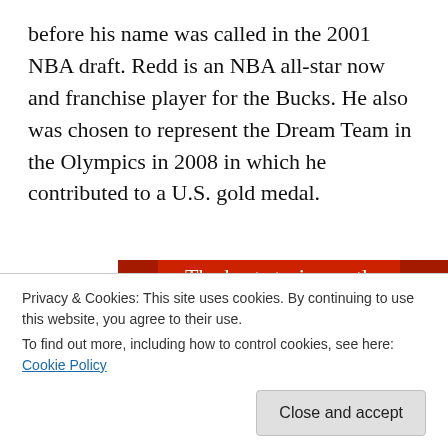before his name was called in the 2001 NBA draft. Redd is an NBA all-star now and franchise player for the Bucks. He also was chosen to represent the Dream Team in the Olympics in 2008 in which he contributed to a U.S. gold medal.
[Figure (screenshot): Red advertisement banner reading 'The best stories on the web – ours, and everyone else's.' with a 'Start reading' button]
Privacy & Cookies: This site uses cookies. By continuing to use this website, you agree to their use.
To find out more, including how to control cookies, see here: Cookie Policy
Close and accept